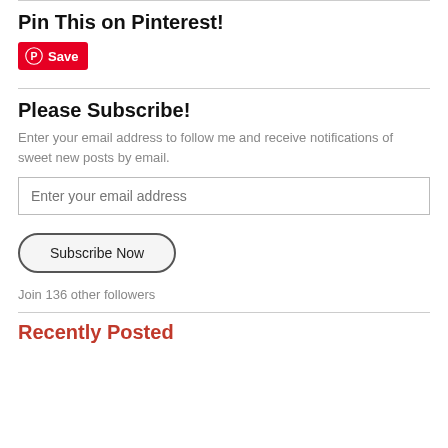Pin This on Pinterest!
[Figure (other): Pinterest Save button with red background and white Pinterest P icon and Save label]
Please Subscribe!
Enter your email address to follow me and receive notifications of sweet new posts by email.
Enter your email address
Subscribe Now
Join 136 other followers
Recently Posted